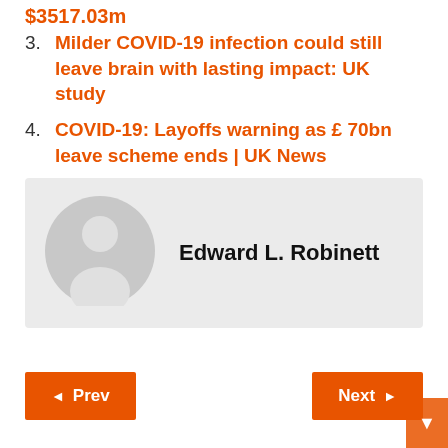$3517.03m
3. Milder COVID-19 infection could still leave brain with lasting impact: UK study
4. COVID-19: Layoffs warning as £ 70bn leave scheme ends | UK News
Edward L. Robinett
Prev
Next